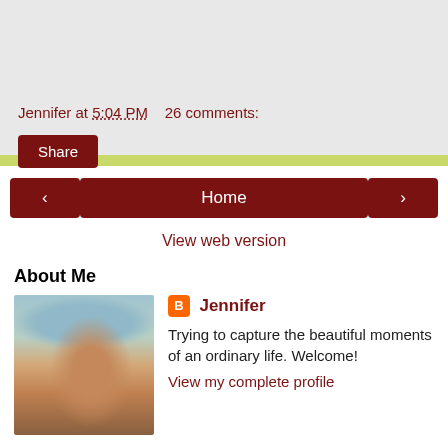Jennifer at 5:04 PM    26 comments:
Share
‹
Home
›
View web version
About Me
[Figure (photo): Profile photo of Jennifer, a woman with long blonde-brown hair, smiling, outdoors with trees in background]
Jennifer
Trying to capture the beautiful moments of an ordinary life. Welcome!
View my complete profile
Powered by Blogger.